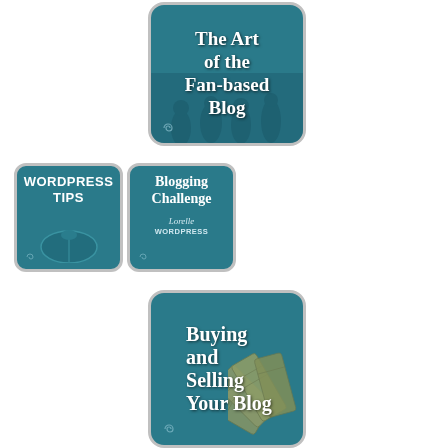[Figure (illustration): Badge/button graphic with teal background and silhouetted band members, text reading 'The Art of the Fan-based Blog']
[Figure (illustration): Small square badge with teal background and computer mouse graphic, text reading 'WORDPRESS TIPS']
[Figure (illustration): Small square badge with teal background, text reading 'Blogging Challenge' with stylized signature 'Lorelle' and 'WORDPRESS' below]
[Figure (illustration): Large badge with teal background and fanned money bills graphic, text reading 'Buying and Selling Your Blog']